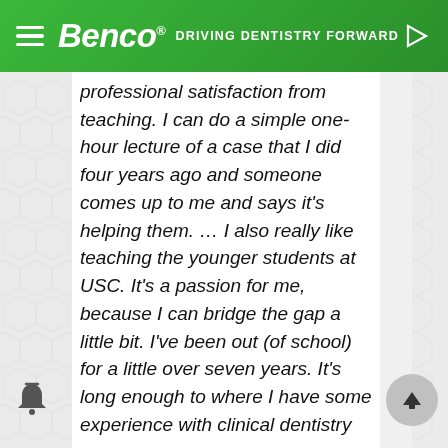Benco® | DRIVING DENTISTRY FORWARD
professional satisfaction from teaching. I can do a simple one-hour lecture of a case that I did four years ago and someone comes up to me and says it's helping them. … I also really like teaching the younger students at USC. It's a passion for me, because I can bridge the gap a little bit. I've been out (of school) for a little over seven years. It's long enough to where I have some experience with clinical dentistry and with running a practice, but I'm not too far